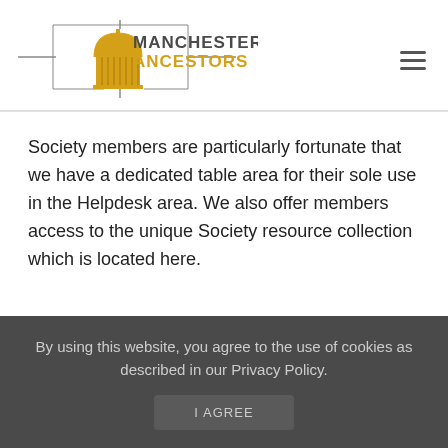[Figure (logo): Manchester Ancestors logo with golden building/dome icon and decorative frame lines, text reading MANCHESTER ANCESTORS]
Society members are particularly fortunate that we have a dedicated table area for their sole use in the Helpdesk area. We also offer members access to the unique Society resource collection which is located here.
By using this website, you agree to the use of cookies as described in our Privacy Policy.
I AGREE